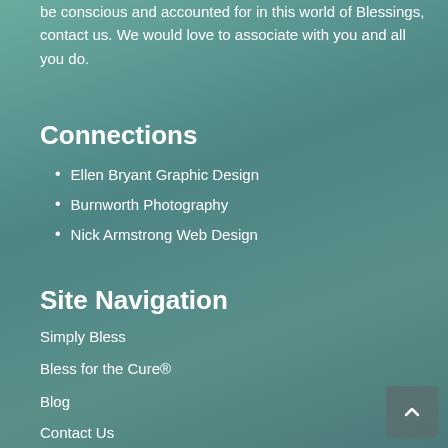be conscious and accounted for in this world of Blessings, contact us. We would love to associate with you and all you do.
Connections
Ellen Bryant Graphic Design
Burnworth Photography
Nick Armstrong Web Design
Site Navigation
Simply Bless
Bless for the Cure®
Blog
Contact Us
Inspirations